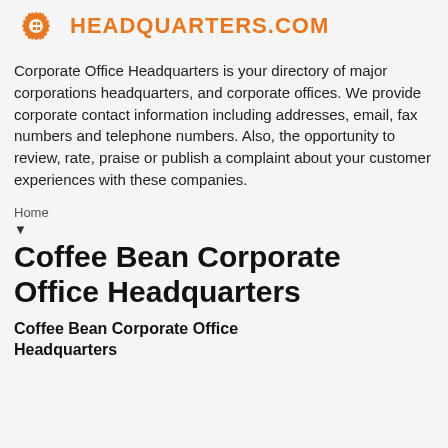[Figure (logo): Corporate Office Headquarters logo with orange gear/building icon and orange text HEADQUARTERS.com]
Corporate Office Headquarters is your directory of major corporations headquarters, and corporate offices. We provide corporate contact information including addresses, email, fax numbers and telephone numbers. Also, the opportunity to review, rate, praise or publish a complaint about your customer experiences with these companies.
Home
▾
Coffee Bean Corporate Office Headquarters
Coffee Bean Corporate Office Headquarters